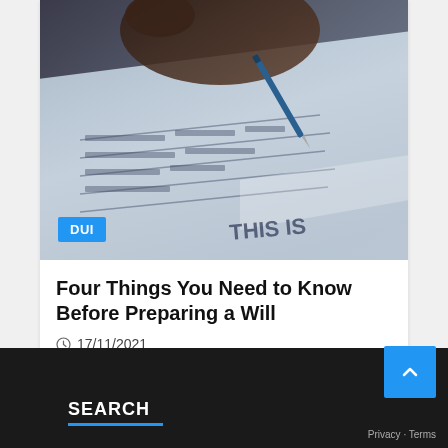[Figure (photo): Close-up photo of a hand holding a pen over a document with handwritten/printed text. A blue badge labeled 'DUI' is overlaid at the bottom left of the image.]
Four Things You Need to Know Before Preparing a Will
17/11/2021
SEARCH